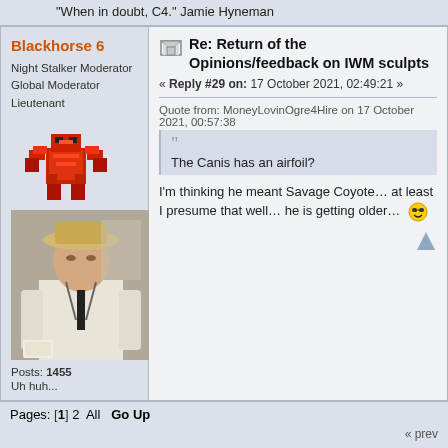"When in doubt, C4." Jamie Hyneman
Blackhorse 6
Night Stalker Moderator
Global Moderator
Lieutenant
[Figure (illustration): Pixel art avatar of a red mech/robot figure]
[Figure (photo): Photo of a man in a white suit and straw hat looking at a document]
Posts: 1455
Uh huh...
Re: Return of the Opinions/feedback on IWM sculpts
« Reply #29 on: 17 October 2021, 02:49:21 »
Quote from: MoneyLovinOgre4Hire on 17 October 2021, 00:57:38
The Canis has an airfoil?
I'm thinking he meant Savage Coyote… at least I presume that well… he is getting older…
Pages: [1] 2  All   Go Up
« prev